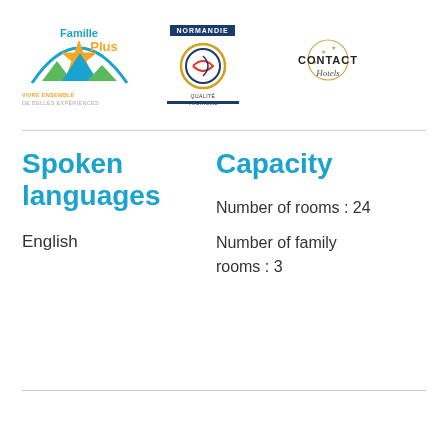[Figure (logo): Famille Plus logo with star and text VIVRE ENSEMBLE DE BELLES EXPÉRIENCES, Normandie Qualité Tourisme logo, Contact Hotels logo]
Spoken languages
Capacity
English
Number of rooms : 24
Number of family rooms : 3